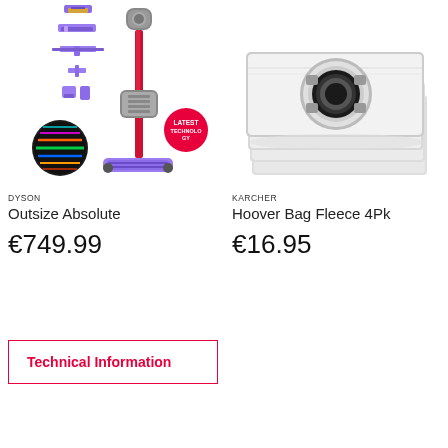[Figure (photo): Dyson Outsize Absolute cordless vacuum cleaner with accessories shown on left side and main unit in red/purple on right, with a red circular badge saying LATEST TECHNOLOGY]
DYSON
Outsize Absolute
€749.99
[Figure (photo): Karcher hoover bag fleece 4 pack - stack of four white fleece filter bags with black circular opening ring]
KARCHER
Hoover Bag Fleece 4Pk
€16.95
Technical Information